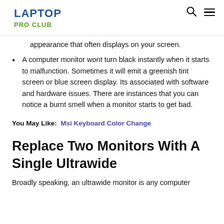LAPTOP PRO CLUB
appearance that often displays on your screen.
A computer monitor wont turn black instantly when it starts to malfunction. Sometimes it will emit a greenish tint screen or blue screen display. Its associated with software and hardware issues. There are instances that you can notice a burnt smell when a monitor starts to get bad.
You May Like: Msi Keyboard Color Change
Replace Two Monitors With A Single Ultrawide
Broadly speaking, an ultrawide monitor is any computer